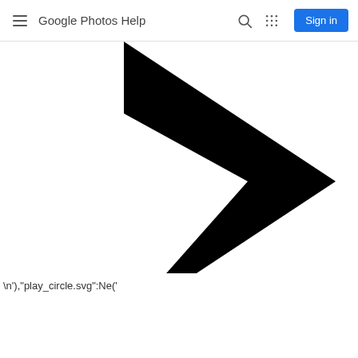Google Photos Help
[Figure (illustration): Large black play button arrow icon, partially cropped, showing a right-pointing triangle/chevron shape in black on white background]
\n'),"play_circle.svg":Ne('